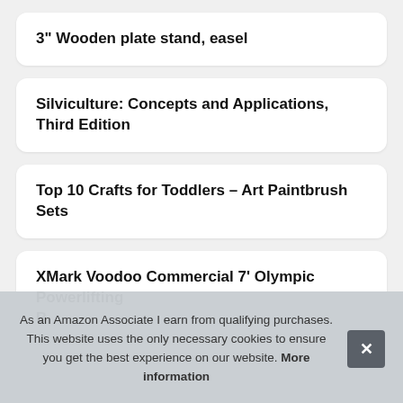3" Wooden plate stand, easel
Silviculture: Concepts and Applications, Third Edition
Top 10 Crafts for Toddlers – Art Paintbrush Sets
XMark Voodoo Commercial 7' Olympic Powerlifting B... U... L...
As an Amazon Associate I earn from qualifying purchases. This website uses the only necessary cookies to ensure you get the best experience on our website. More information